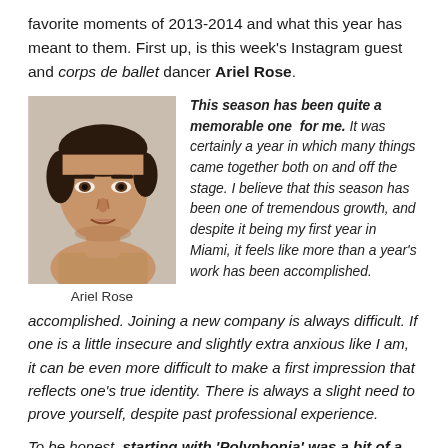favorite moments of 2013-2014 and what this year has meant to them. First up, is this week's Instagram guest and corps de ballet dancer Ariel Rose.
[Figure (photo): Headshot photo of Ariel Rose, a male ballet dancer, shirtless, against a light background]
Ariel Rose
This season has been quite a memorable one for me. It was certainly a year in which many things came together both on and off the stage. I believe that this season has been one of tremendous growth, and despite it being my first year in Miami, it feels like more than a year's work has been accomplished. Joining a new company is always difficult. If one is a little insecure and slightly extra anxious like I am, it can be even more difficult to make a first impression that reflects one's true identity. There is always a slight need to prove yourself, despite past professional experience.
To be honest, starting with 'Polyphonia' was a bit of a heart